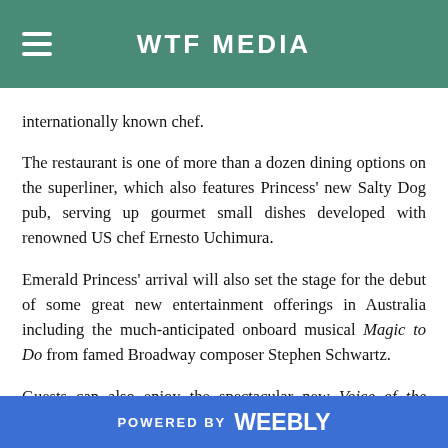WTF MEDIA
internationally known chef. The restaurant is one of more than a dozen dining options on the superliner, which also features Princess' new Salty Dog pub, serving up gourmet small dishes developed with renowned US chef Ernesto Uchimura. Emerald Princess' arrival will also set the stage for the debut of some great new entertainment offerings in Australia including the much-anticipated onboard musical Magic to Do from famed Broadway composer Stephen Schwartz. Guests can also enjoy the spectacular new Voice of the Ocean competition, exclusive to Princess, which brings the spectacle of TV's popular international singing competition to the high seas. Emerald Princess features more than 1500 guest rooms – including 900 balcony staterooms.
POWERED BY weebly